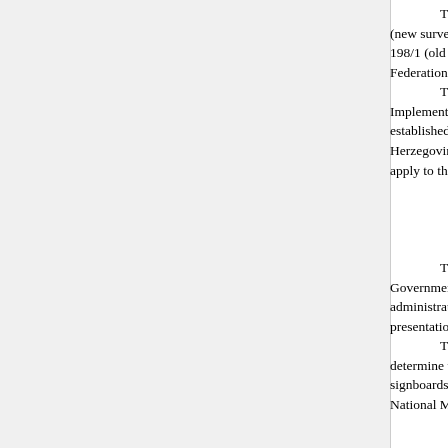The National Monument is located o... (new survey), title deed no. 174, cadastral m... 198/1 (old survey), Land Register entry n... Federation of Bosnia and Herzegovina, Bosnia...
The provisions relating to protecti... Implementation of the Decisions of the C... established pursuant to Annex 8 of the Genera... Herzegovina (Official Gazette of the Federatio... apply to the National Monument.
The Government of the Federation... Government of the Federation) shall be respo... administrative and financial measures ne... presentation of the National Monument.
The Commission to Preserve Nationa... determine the technical requirements and s... signboards with basic details of the monume... National Monument.
To ensure the on-going protection of... Clause 1 para. 3 of this Decision, the following...
archaeological works, conservation w... designed for the presentation of the m... Federal Ministry responsible for regio... the heritage protection authority of the...
the ramparts, the walls of the tow...